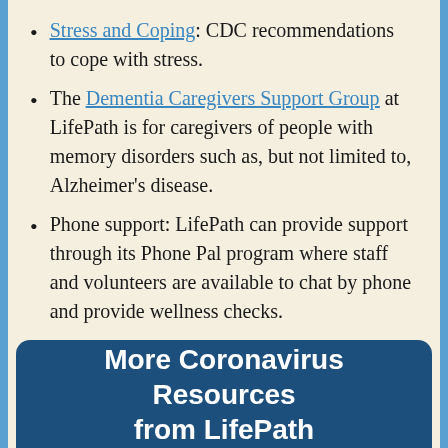Stress and Coping: CDC recommendations to cope with stress.
The Dementia Caregivers Support Group at LifePath is for caregivers of people with memory disorders such as, but not limited to, Alzheimer's disease.
Phone support: LifePath can provide support through its Phone Pal program where staff and volunteers are available to chat by phone and provide wellness checks.
The Concordium: an intergenerational phone contact program matching college students with elders for mutually beneficial friendship.
More Coronavirus Resources from LifePath